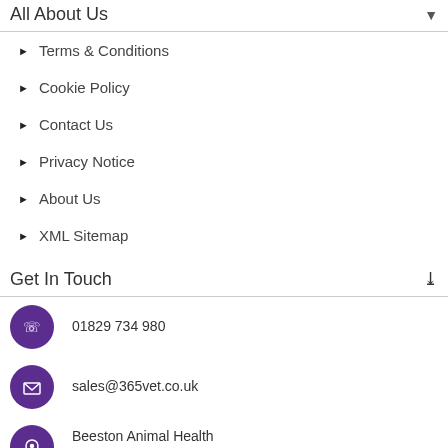All About Us
Terms & Conditions
Cookie Policy
Contact Us
Privacy Notice
About Us
XML Sitemap
Get In Touch
01829 734 980
sales@365vet.co.uk
Beeston Animal Health
Unit 12, Portal Business Park